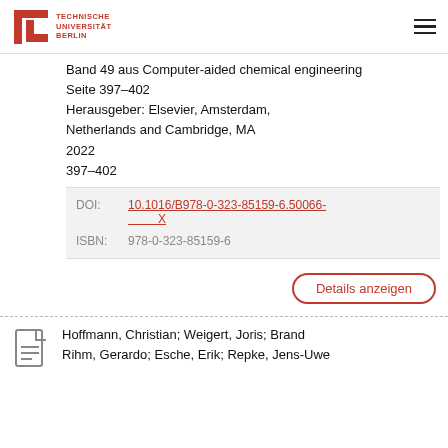TECHNISCHE UNIVERSITÄT BERLIN
Band 49 aus Computer-aided chemical engineering
Seite 397–402
Herausgeber: Elsevier, Amsterdam, Netherlands and Cambridge, MA
2022
397–402
| Field | Value |
| --- | --- |
| DOI: | 10.1016/B978-0-323-85159-6.50066-X |
| ISBN: | 978-0-323-85159-6 |
Details anzeigen
Hoffmann, Christian; Weigert, Joris; Brand Rihm, Gerardo; Esche, Erik; Repke, Jens-Uwe